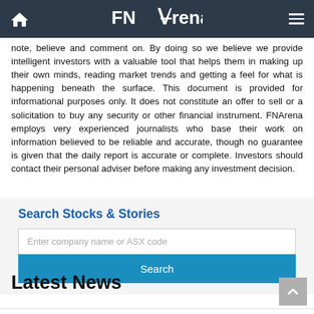FNArena
note, believe and comment on. By doing so we believe we provide intelligent investors with a valuable tool that helps them in making up their own minds, reading market trends and getting a feel for what is happening beneath the surface. This document is provided for informational purposes only. It does not constitute an offer to sell or a solicitation to buy any security or other financial instrument. FNArena employs very experienced journalists who base their work on information believed to be reliable and accurate, though no guarantee is given that the daily report is accurate or complete. Investors should contact their personal adviser before making any investment decision.
Search Stocks & Stories
Enter company name or ASX code
Search
Latest News